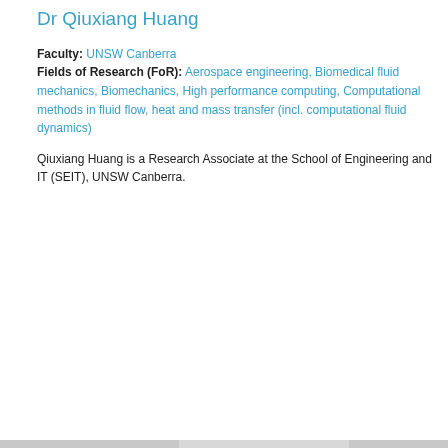Dr Qiuxiang Huang
Faculty: UNSW Canberra
Fields of Research (FoR): Aerospace engineering, Biomedical fluid mechanics, Biomechanics, High performance computing, Computational methods in fluid flow, heat and mass transfer (incl. computational fluid dynamics)
Qiuxiang Huang is a Research Associate at the School of Engineering and IT (SEIT), UNSW Canberra.